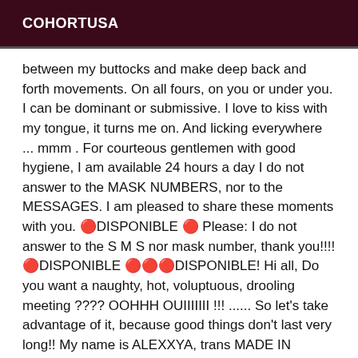COHORTUSA
between my buttocks and make deep back and forth movements. On all fours, on you or under you. I can be dominant or submissive. I love to kiss with my tongue, it turns me on. And licking everywhere ... mmm . For courteous gentlemen with good hygiene, I am available 24 hours a day I do not answer to the MASK NUMBERS, nor to the MESSAGES. I am pleased to share these moments with you. 🔴DISPONIBLE 🔴 Please: I do not answer to the S M S nor mask number, thank you!!!! 🔴DISPONIBLE 🔴🔴🔴DISPONIBLE! Hi all, Do you want a naughty, hot, voluptuous, drooling meeting ???? OOHHH OUIIIIIII !!! ...... So let's take advantage of it, because good things don't last very long!! My name is ALEXXYA, trans MADE IN BRAZIL ; 29 years old, hot, dreamy body, I'm what we call a real bitch, and I have capacities to satisfy you ! I am pretty, very feminine, sweet, natural, sexy and cuddly ! 🔴 I propose you 30 min - 100 roses 1 hour - 150 roses Couple = 300 roses 1h